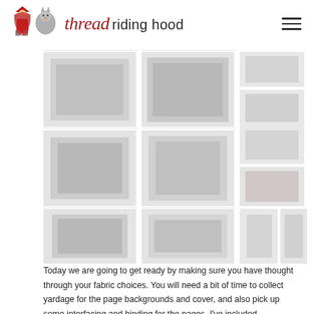thread riding hood
[Figure (photo): Grid of approximately 9-10 placeholder/loading images arranged in 3 rows showing fabric or sewing-related content for a blog post]
Today we are going to get ready by making sure you have thought through your fabric choices. You will need a bit of time to collect yardage for the page backgrounds and cover, and also pick up some interfacing and binding for the pages. I've included helpful information and patterns for each of the pages below.